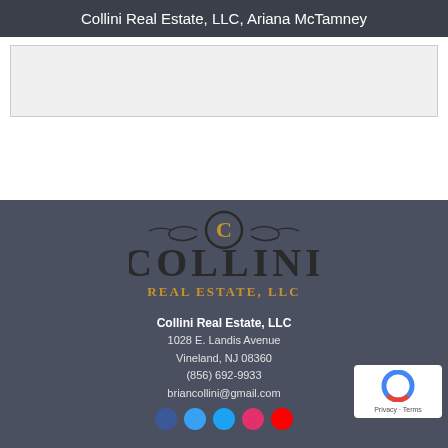Collini Real Estate, LLC, Ariana McTamney
[Figure (illustration): Light gray placeholder box]
[Figure (logo): Collini Real Estate LLC logo with decorative C emblem, COLLINI wordmark in dark serif, REAL ESTATE LLC in gold serif capitals]
Collini Real Estate, LLC
1028 E. Landis Avenue
Vineland, NJ 08360
(856) 692-9933
briancollini@gmail.com